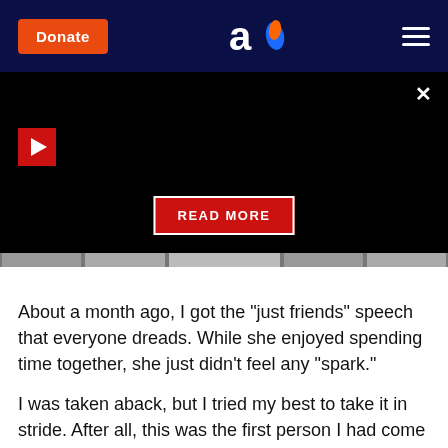Donate | [logo] | [menu]
[Figure (screenshot): Video player area with black background, red play button in upper left, X close button in upper right, and a red READ MORE button centered near the bottom. Below the video area is a thumbnail strip.]
About a month ago, I got the "just friends" speech that everyone dreads. While she enjoyed spending time together, she just didn't feel any "spark."
I was taken aback, but I tried my best to take it in stride. After all, this was the first person I had come across in a while that I was attracted to. So I thought maybe I felt that way simply because "she was there."